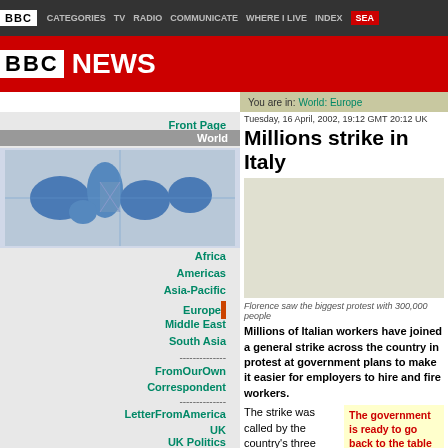BBC | CATEGORIES | TV | RADIO | COMMUNICATE | WHERE I LIVE | INDEX | SEARCH
[Figure (logo): BBC News banner with red background, BBC white-on-dark logo and NEWS text in white]
You are in: World: Europe
Tuesday, 16 April, 2002, 19:12 GMT 20:12 UK
Millions strike in Italy
Front Page
World
Africa
Americas
Asia-Pacific
Europe
Middle East
South Asia
From Our Own Correspondent
Letter From America
UK
UK Politics
Business
Sci/Tech
Health
Education
Florence saw the biggest protest with 300,000 people
Millions of Italian workers have joined a general strike across the country in protest at government plans to make it easier for employers to hire and fire workers.
The strike was called by the country's three main union federations, and has brought parts of the country
The government is ready to go back to the table for discussions but it